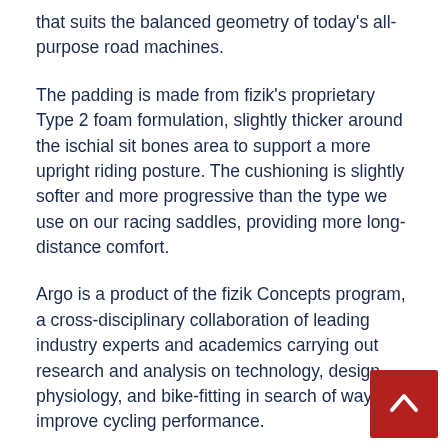that suits the balanced geometry of today's all-purpose road machines.
The padding is made from fizik's proprietary Type 2 foam formulation, slightly thicker around the ischial sit bones area to support a more upright riding posture. The cushioning is slightly softer and more progressive than the type we use on our racing saddles, providing more long-distance comfort.
Argo is a product of the fizik Concepts program, a cross-disciplinary collaboration of leading industry experts and academics carrying out research and analysis on technology, design, physiology, and bike-fitting in search of ways to improve cycling performance.
- Argo: a versatile short-nose saddle that encourages stability and relieves pressure on soft tissue area
- R3: a combination of a ride-compliant carbon-reinforced nylon shell and a Kium hollow rail with a high strength-to-